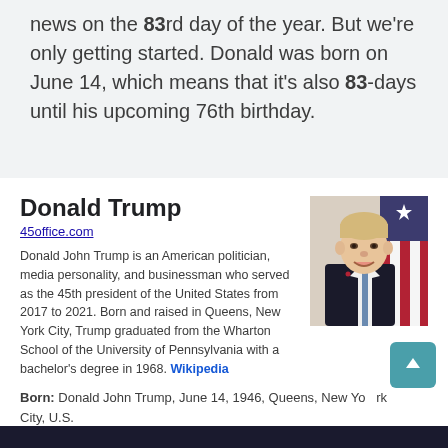news on the 83rd day of the year. But we're only getting started. Donald was born on June 14, which means that it's also 83-days until his upcoming 76th birthday.
Donald Trump
45office.com
Donald John Trump is an American politician, media personality, and businessman who served as the 45th president of the United States from 2017 to 2021. Born and raised in Queens, New York City, Trump graduated from the Wharton School of the University of Pennsylvania with a bachelor's degree in 1968. Wikipedia
[Figure (photo): Portrait photo of Donald Trump in a dark suit with American flags in the background]
Born: Donald John Trump, June 14, 1946, Queens, New York City, U.S.